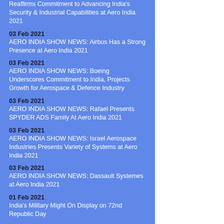Reaffirms Commitment to Advancing India's Security & Industrial Capabilities at Aero India 2021
03 Feb 2021
AERO INDIA SHOW NEWS: Airbus Has a Strong Presence at Aero India 2021
03 Feb 2021
AERO INDIA SHOW NEWS: Boeing Underscores Commitment to India, Projects Growth for Aerospace & Defence Industry
03 Feb 2021
AERO INDIA SHOW NEWS: Rafael Presents SPYDER ADS Family At Aero India 2021
03 Feb 2021
AERO INDIA SHOW NEWS: Israel Aerospace Industries Presents Variety of Systems at Aero India 2021
03 Feb 2021
AERO INDIA SHOW NEWS: Dassault Systemes at Aero India 2021
01 Feb 2021
India's Military Might On Display on 72nd Republic Day
01 Feb 2021
Thales and Bharat Dynamics Limited Bringing